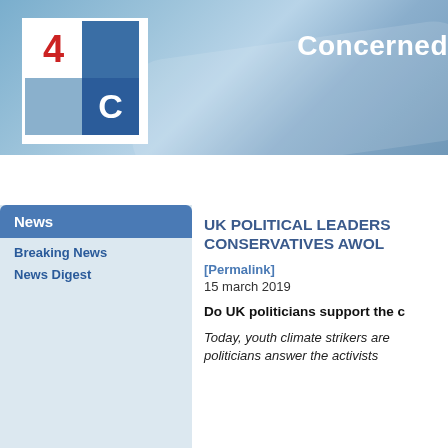[Figure (logo): 4C logo - grid of four squares: top-left white with red '4', top-right dark blue, bottom-left light blue, bottom-right dark blue with white 'C']
Concerned
Welcome | Petition | News | Events | Op-ed & docs
News
Breaking News
News Digest
UK POLITICAL LEADERS CONSERVATIVES AWOL
[Permalink]
15 march 2019
Do UK politicians support the c
Today, youth climate strikers are politicians answer the activists